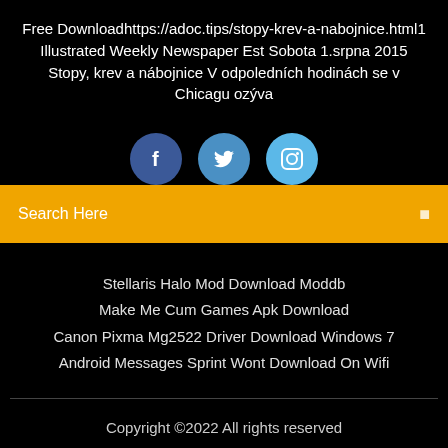Free Downloadhttps://adoc.tips/stopy-krev-a-nabojnice.html1 Illustrated Weekly Newspaper Est Sobota 1.srpna 2015 Stopy, krev a nábojnice V odpoledních hodinách se v Chicagu ozýva
[Figure (other): Three social media icons: Facebook (dark blue circle), Twitter (medium blue circle), Instagram (light blue circle)]
Search Here
Stellaris Halo Mod Download Moddb
Make Me Cum Games Apk Download
Canon Pixma Mg2522 Driver Download Windows 7
Android Messages Sprint Wont Download On Wifi
Copyright ©2022 All rights reserved